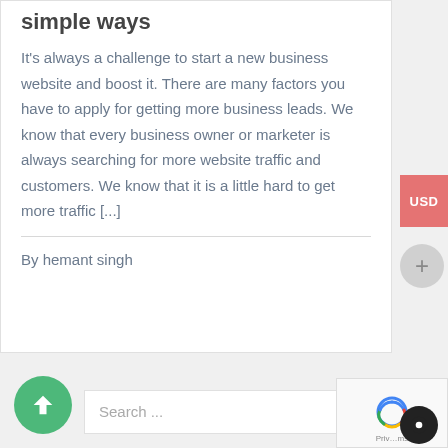simple ways
It's always a challenge to start a new business website and boost it. There are many factors you have to apply for getting more business leads. We know that every business owner or marketer is always searching for more website traffic and customers. We know that it is a little hard to get more traffic [...]
By hemant singh
Search ...